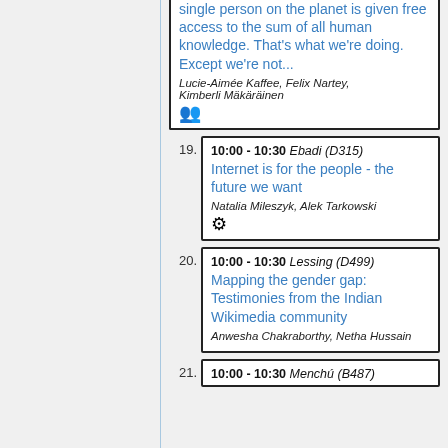single person on the planet is given free access to the sum of all human knowledge. That's what we're doing. Except we're not...
Lucie-Aimée Kaffee, Felix Nartey, Kimberli Mäkäräinen
19. 10:00 - 10:30 Ebadi (D315) Internet is for the people - the future we want. Natalia Mileszyk, Alek Tarkowski
20. 10:00 - 10:30 Lessing (D499) Mapping the gender gap: Testimonies from the Indian Wikimedia community. Anwesha Chakraborthy, Netha Hussain
21. 10:00 - 10:30 Menchú (B487)